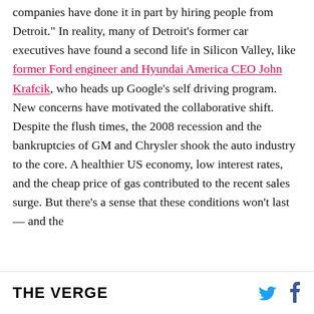companies have done it in part by hiring people from Detroit." In reality, many of Detroit's former car executives have found a second life in Silicon Valley, like former Ford engineer and Hyundai America CEO John Krafcik, who heads up Google's self driving program.

New concerns have motivated the collaborative shift. Despite the flush times, the 2008 recession and the bankruptcies of GM and Chrysler shook the auto industry to the core. A healthier US economy, low interest rates, and the cheap price of gas contributed to the recent sales surge. But there's a sense that these conditions won't last — and the
THE VERGE